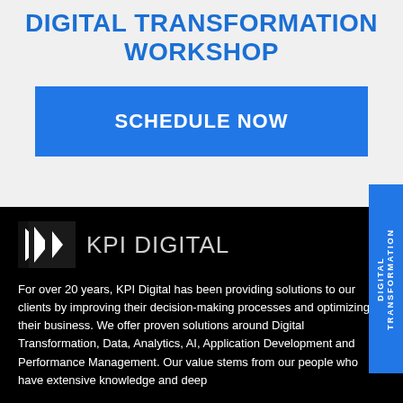DIGITAL TRANSFORMATION WORKSHOP
SCHEDULE NOW
[Figure (logo): KPI Digital logo with angular K icon in white on dark square and text 'KPI DIGITAL']
For over 20 years, KPI Digital has been providing solutions to our clients by improving their decision-making processes and optimizing their business. We offer proven solutions around Digital Transformation, Data, Analytics, AI, Application Development and Performance Management. Our value stems from our people who have extensive knowledge and deep